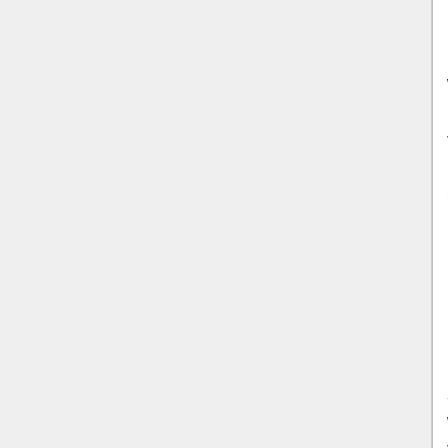In the US, dedicated right of way is rarely available for trams(and in its absence, trolleys can avoid traffic problems much easier). Track installation is often economically impossible period in low density suburbs, and that's what the US is filled with. I'm not very aware of the topographical